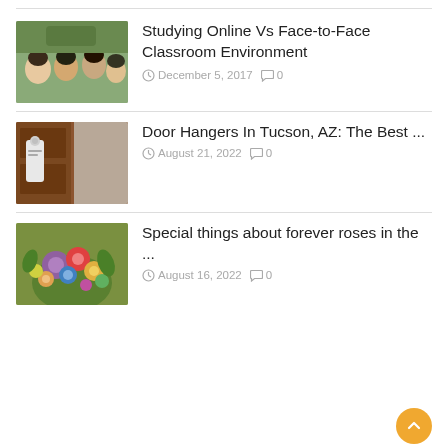[Figure (photo): Group selfie photo of students in graduation attire]
Studying Online Vs Face-to-Face Classroom Environment
December 5, 2017  0
[Figure (photo): Door hanger on a wooden door]
Door Hangers In Tucson, AZ: The Best ...
August 21, 2022  0
[Figure (photo): Colorful flower bouquet arrangement]
Special things about forever roses in the ...
August 16, 2022  0